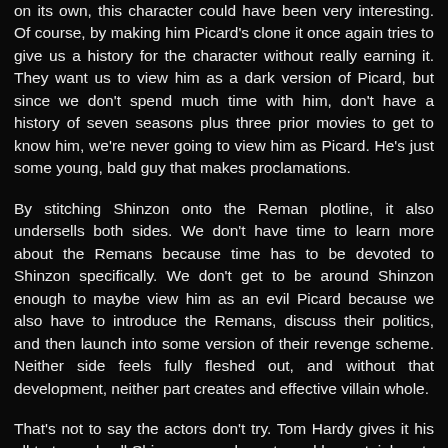on its own, this character could have been very interesting. Of course, by making him Picard's clone it once again tries to give us a history for the character without really earning it. They want us to view him as a dark version of Picard, but since we don't spend much time with him, don't have a history of seven seasons plus three prior movies to get to know him, we're never going to view him as Picard. He's just some young, bald guy that makes proclamations.
By stitching Shinzon onto the Reman plotline, it also undersells both sides. We don't have time to learn more about the Remans because time has to be devoted to Shinzon specifically. We don't get to be around Shinzon enough to maybe view him as an evil Picard because we also have to introduce the Remans, discuss their politics, and then launch into some version of their revenge scheme. Neither side feels fully fleshed out, and without that development, neither part creates and effective villain whole.
That's not to say the actors don't try. Tom Hardy gives it his all to try and sell Shinzon as a character, ad he certainly cuts a more villainous figure here than he did over in The Dark Knight Rises (although the fact that he was hobbled by a stupid mask over there didn't help matters). And while I don't think the Remans worked as a villain, their makeup was effective, and I could see them springing back up as a villain